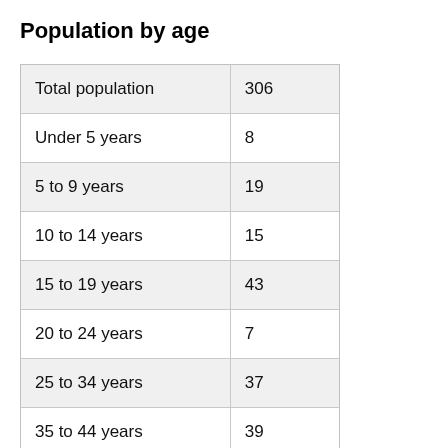Population by age
|  |  |
| --- | --- |
| Total population | 306 |
| Under 5 years | 8 |
| 5 to 9 years | 19 |
| 10 to 14 years | 15 |
| 15 to 19 years | 43 |
| 20 to 24 years | 7 |
| 25 to 34 years | 37 |
| 35 to 44 years | 39 |
| 45 to 54 years | 62 |